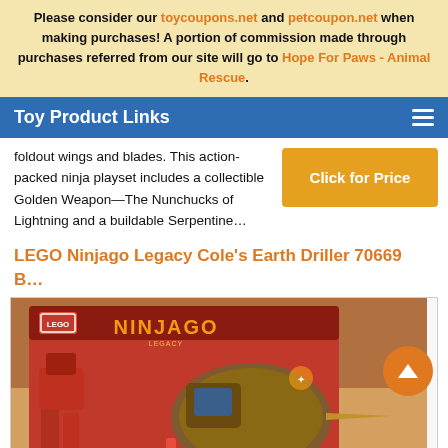Please consider our toycoupons.net and petcoupon.net when making purchases! A portion of commission made through purchases referred from our site will go to Hope For Paws - Animal Rescue.
Toy Product Links
foldout wings and blades. This action-packed ninja playset includes a collectible Golden Weapon—The Nunchucks of Lightning and a buildable Serpentine...
Click for Price
LEGO Ninjago Legacy Cole's Earth Driller 70669 B...
[Figure (photo): LEGO Ninjago Legacy Cole's Earth Driller 70669 product box image showing a large drilling vehicle with robot mechs and ninja figures fighting]